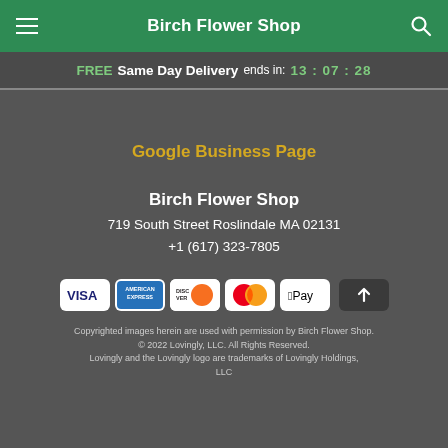Birch Flower Shop
FREE Same Day Delivery ends in: 13:07:28
Google Business Page
Birch Flower Shop
719 South Street Roslindale MA 02131
+1 (617) 323-7805
[Figure (other): Payment method icons: Visa, American Express, Discover, MasterCard, Apple Pay, and a scroll-to-top button]
Copyrighted images herein are used with permission by Birch Flower Shop.
© 2022 Lovingly, LLC. All Rights Reserved.
Lovingly and the Lovingly logo are trademarks of Lovingly Holdings, LLC